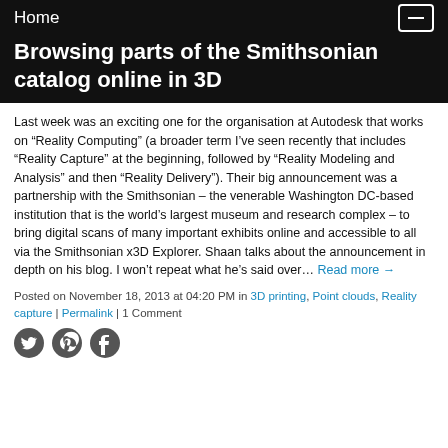Home
Browsing parts of the Smithsonian catalog online in 3D
Last week was an exciting one for the organisation at Autodesk that works on “Reality Computing” (a broader term I’ve seen recently that includes “Reality Capture” at the beginning, followed by “Reality Modeling and Analysis” and then “Reality Delivery”). Their big announcement was a partnership with the Smithsonian – the venerable Washington DC-based institution that is the world’s largest museum and research complex – to bring digital scans of many important exhibits online and accessible to all via the Smithsonian x3D Explorer. Shaan talks about the announcement in depth on his blog. I won’t repeat what he’s said over… Read more →
Posted on November 18, 2013 at 04:20 PM in 3D printing, Point clouds, Reality capture | Permalink | 1 Comment
[Figure (other): Social sharing icons: Twitter, Pinterest, Facebook]